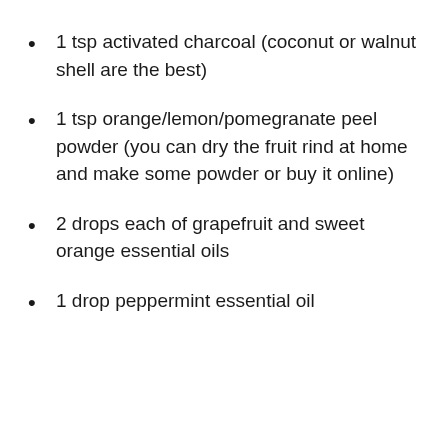1 tsp activated charcoal (coconut or walnut shell are the best)
1 tsp orange/lemon/pomegranate peel powder (you can dry the fruit rind at home and make some powder or buy it online)
2 drops each of grapefruit and sweet orange essential oils
1 drop peppermint essential oil